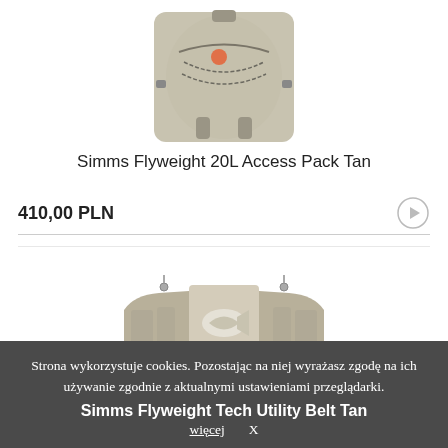[Figure (photo): Simms Flyweight 20L Access Pack Tan — top portion of a tan/olive backpack with orange accent and mesh bungee cords, on white background]
Simms Flyweight 20L Access Pack Tan
410,00 PLN
[Figure (photo): Simms Flyweight Tech Utility Belt Tan — tan/olive hip/lumbar belt with Simms fish logo, metal buckle clasp, viewed from back, on white background]
Strona wykorzystuje cookies. Pozostając na niej wyrażasz zgodę na ich używanie zgodnie z aktualnymi ustawieniami przeglądarki.
Simms Flyweight Tech Utility Belt Tan
więcej
X